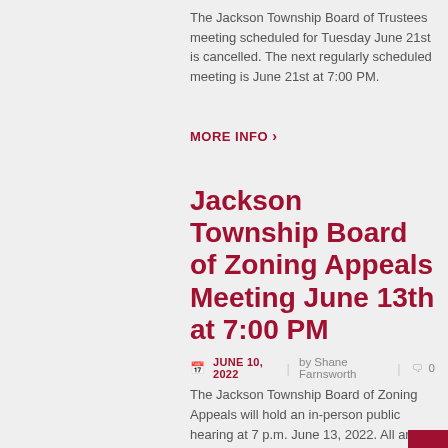The Jackson Township Board of Trustees meeting scheduled for Tuesday June 21st is cancelled. The next regularly scheduled meeting is June 21st at 7:00 PM.
MORE INFO ›
Jackson Township Board of Zoning Appeals Meeting June 13th at 7:00 PM
JUNE 10, 2022 | by Shane Farnsworth | 0
The Jackson Township Board of Zoning Appeals will hold an in-person public hearing at 7 p.m. June 13, 2022. All are invited to join the BZA meeting at 3756 Hoover Road Grove City, Ohio 43123. Anyone who would like to address the board should…